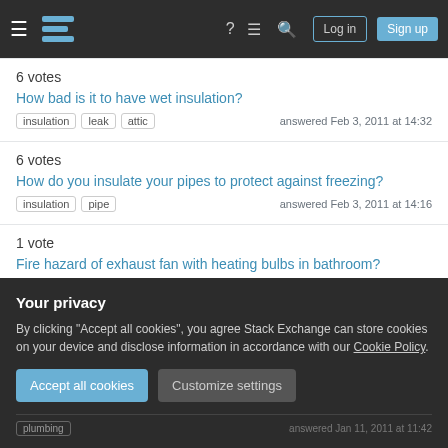Stack Exchange navigation bar with Log in and Sign up buttons
6 votes
How bad is it to have wet insulation?
insulation  leak  attic  answered Feb 3, 2011 at 14:32
6 votes
How do you insulate your pipes to protect against freezing?
insulation  pipe  answered Feb 3, 2011 at 14:16
1 vote
Fire hazard of exhaust fan with heating bulbs in bathroom?
Your privacy
By clicking "Accept all cookies", you agree Stack Exchange can store cookies on your device and disclose information in accordance with our Cookie Policy.
Accept all cookies  Customize settings
plumbing  answered Jan 11, 2011 at 11:42